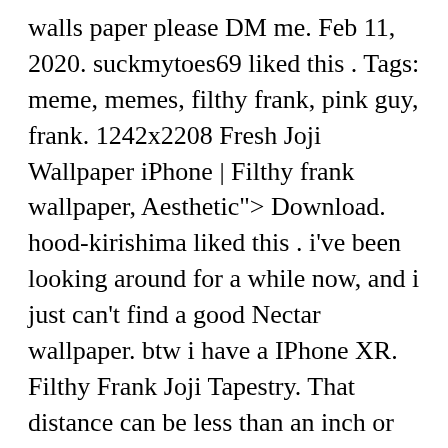walls paper please DM me. Feb 11, 2020. suckmytoes69 liked this . Tags: meme, memes, filthy frank, pink guy, frank. 1242x2208 Fresh Joji Wallpaper iPhone | Filthy frank wallpaper, Aesthetic"> Download. hood-kirishima liked this . i've been looking around for a while now, and i just can't find a good Nectar wallpaper. btw i have a IPhone XR. Filthy Frank Joji Tapestry. That distance can be less than an inch or as much as the entire width of the wallpaper... Jan 25, 2020 - Explore Leocolden's board "Joji" on Pinterest. joji-run. 1 comment. By prodesigner2. By lunervie. $31.21. We would like to show you a description here but the site won't allow us. damn---fine---coffee. The pattern repeat is the vertical distance